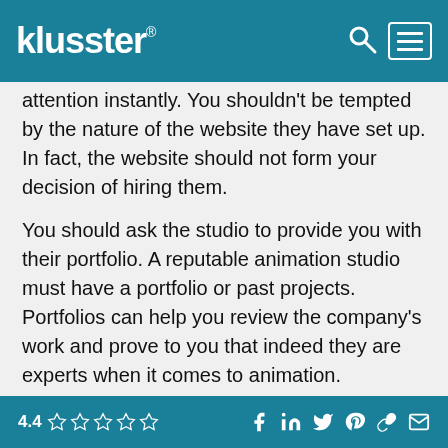klusster®
attention instantly. You shouldn't be tempted by the nature of the website they have set up. In fact, the website should not form your decision of hiring them.
You should ask the studio to provide you with their portfolio. A reputable animation studio must have a portfolio or past projects. Portfolios can help you review the company's work and prove to you that indeed they are experts when it comes to animation.
2. Testimonials
You must check the authenticity of the company you want to hire. Check the animation studio's ratings, reviews, and recommendations. Doing so will give you an idea about whether or not the company is a
4.4 ☆☆☆☆☆